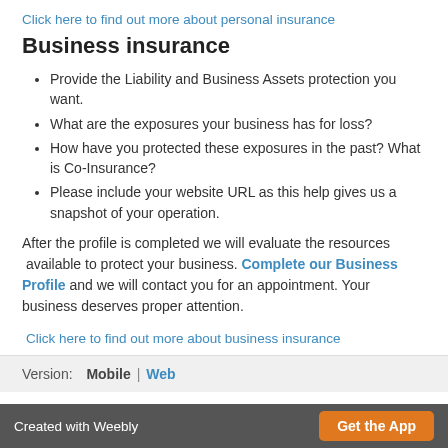Click here to find out more about personal insurance
Business insurance
Provide the Liability and Business Assets protection you want.
What are the exposures your business has for loss?
How have you protected these exposures in the past? What is Co-Insurance?
Please include your website URL as this help gives us a snapshot of your operation.
After the profile is completed we will evaluate the resources available to protect your business. Complete our Business Profile and we will contact you for an appointment. Your business deserves proper attention.
Click here to find out more about business insurance
Version:  Mobile  |  Web
Created with Weebly  Get the App